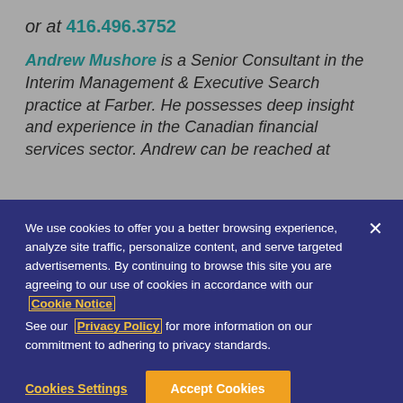or at 416.496.3752
Andrew Mushore is a Senior Consultant in the Interim Management & Executive Search practice at Farber. He possesses deep insight and experience in the Canadian financial services sector. Andrew can be reached at
We use cookies to offer you a better browsing experience, analyze site traffic, personalize content, and serve targeted advertisements. By continuing to browse this site you are agreeing to our use of cookies in accordance with our Cookie Notice
See our Privacy Policy for more information on our commitment to adhering to privacy standards.
Cookies Settings
Accept Cookies